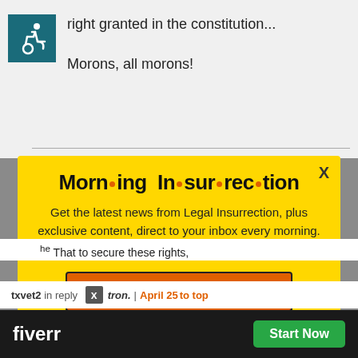[Figure (illustration): Accessibility/wheelchair icon in teal box]
right granted in the constitution...

Morons, all morons!
[Figure (infographic): Morning Insurrection newsletter signup modal with yellow background, title 'Morning Insurrection', subscription text, and JOIN NOW button]
txvet2 in reply to tron. | April 25 to top
[Figure (logo): Fiverr logo with Start Now button]
That to secure these rights,